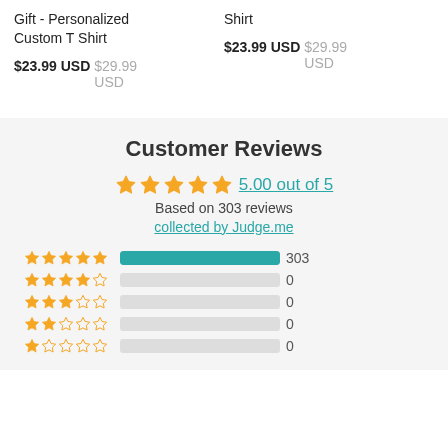Gift - Personalized Custom T Shirt
$23.99 USD  $29.99 USD
Shirt
$23.99 USD  $29.99 USD
Customer Reviews
5.00 out of 5
Based on 303 reviews
collected by Judge.me
| Stars | Bar | Count |
| --- | --- | --- |
| 5 stars | full | 303 |
| 4 stars | empty | 0 |
| 3 stars | empty | 0 |
| 2 stars | empty | 0 |
| 1 star | empty | 0 |